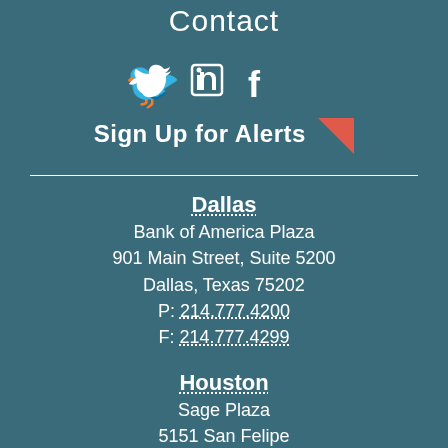Contact
[Figure (infographic): Social media icons: Twitter bird, LinkedIn 'in', Facebook 'f']
Sign Up for Alerts
Dallas
Bank of America Plaza
901 Main Street, Suite 5200
Dallas, Texas 75202
P: 214.777.4200
F: 214.777.4299
Houston
Sage Plaza
5151 San Felipe